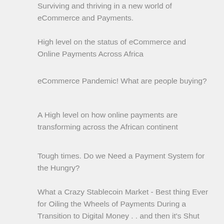Surviving and thriving in a new world of eCommerce and Payments.
High level on the status of eCommerce and Online Payments Across Africa
eCommerce Pandemic! What are people buying?
A High level on how online payments are transforming across the African continent
Tough times. Do we Need a Payment System for the Hungry?
What a Crazy Stablecoin Market - Best thing Ever for Oiling the Wheels of Payments During a Transition to Digital Money . . and then it's Shut Down
VIDEO: Helpful Commerce Communication